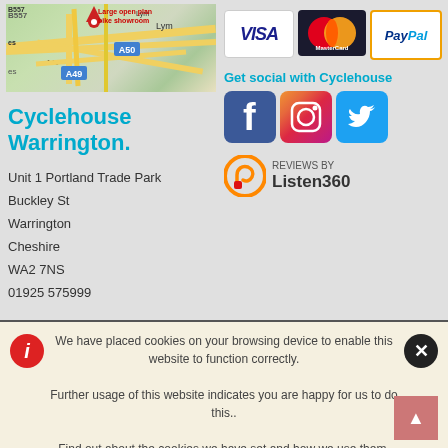[Figure (map): Google Maps snippet showing roads near Lymm/Warrington area with roads A49, A50, B557 visible]
Cyclehouse Warrington.
Unit 1 Portland Trade Park
Buckley St
Warrington
Cheshire
WA2 7NS
01925 575999
[Figure (logo): Visa payment logo]
[Figure (logo): MasterCard payment logo]
[Figure (logo): PayPal payment logo]
Get social with Cyclehouse
[Figure (logo): Facebook, Instagram, Twitter social media icons]
[Figure (logo): Reviews by Listen360 logo]
We have placed cookies on your browsing device to enable this website to function correctly.
Further usage of this website indicates you are happy for us to do this..
Find out about the cookies we have set and how we use them.